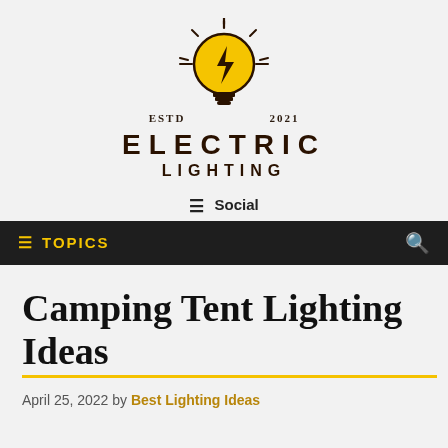[Figure (logo): Electric Lighting logo: a yellow lightbulb with lightning bolt inside, radiating lines, with 'ESTD 2021' on either side, and 'ELECTRIC LIGHTING' in bold dark lettering below]
≡ Social
≡ TOPICS  🔍
Camping Tent Lighting Ideas
April 25, 2022 by Best Lighting Ideas